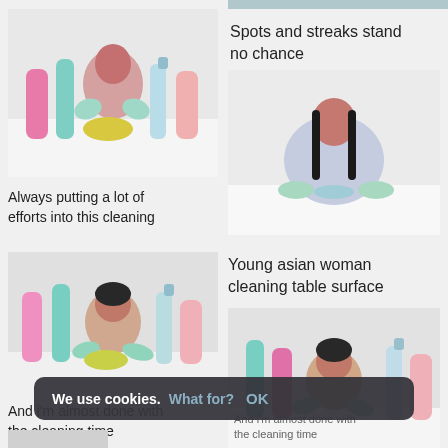[Figure (photo): Partial image visible at top right corner — cut off cleaning-related photo with blue/teal tones]
[Figure (photo): Girl with cleaning gloves and colorful cleaning bottles on a table against grey background]
Always putting a lot of efforts into this cleaning
Spots and streaks stand no chance
[Figure (photo): Young Asian woman cleaning table surface with green rubber gloves on a white table]
[Figure (photo): Woman smiling with cleaning gloves and colourful cleaning bottles on a table]
And i'm almost done with the cleaning time
Young asian woman cleaning table surface
[Figure (photo): Woman with cleaning bottles smiling — bottom right image, partially visible]
[Figure (photo): Partially visible image at bottom left corner]
And i'm almost done with the cleaning time
We use cookies. What for? OK